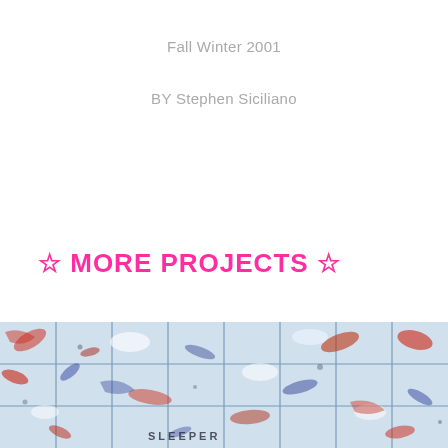Fall Winter 2001
BY Stephen Siciliano
☆ MORE PROJECTS ☆
[Figure (photo): Abstract expressionist artwork arranged in a grid of panels, featuring blue, white, red and dark paint strokes with textural layering. Text 'SLEEPER' partially visible in lower left portion.]